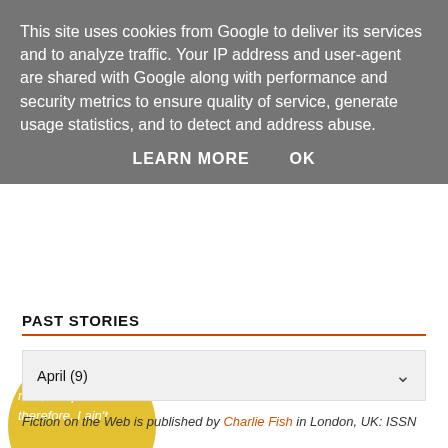This site uses cookies from Google to deliver its services and to analyze traffic. Your IP address and user-agent are shared with Google along with performance and security metrics to ensure quality of service, generate usage statistics, and to detect and address abuse.
LEARN MORE    OK
[Figure (illustration): Yellow circle partially visible at left edge containing italic white text snippets: 'nink,' he proclaim' and 'therefore, I ain't']
PAST STORIES
April (9)
Fiction on the Web is published by Charlie Fish in London, UK: ISSN